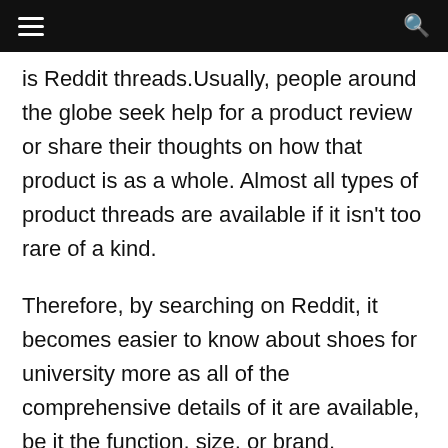is Reddit threads.Usually, people around the globe seek help for a product review or share their thoughts on how that product is as a whole. Almost all types of product threads are available if it isn't too rare of a kind.
Therefore, by searching on Reddit, it becomes easier to know about shoes for university more as all of the comprehensive details of it are available, be it the function, size, or brand.
Even if you are looking for any specific details for your shoes for university, the online reviews can get you covered. Online has turned out as other